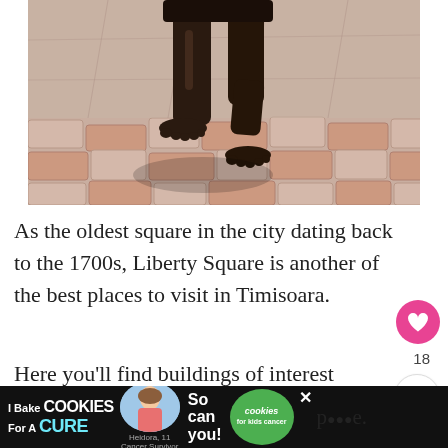[Figure (photo): Close-up photo of the legs of a dark bronze statue walking on a pink/red cobblestone pavement, with the statue's shadow visible.]
As the oldest square in the city dating back to the 1700s, Liberty Square is another of the best places to visit in Timisoara.
Here you'll find buildings of interest including the Town Hall, plus modern statues and an artsy so… p…e.
[Figure (infographic): Advertisement banner: 'I Bake COOKIES For A CURE' with a girl image, 'So can you!' text, and a green cookies for kids cancer logo with a close button.]